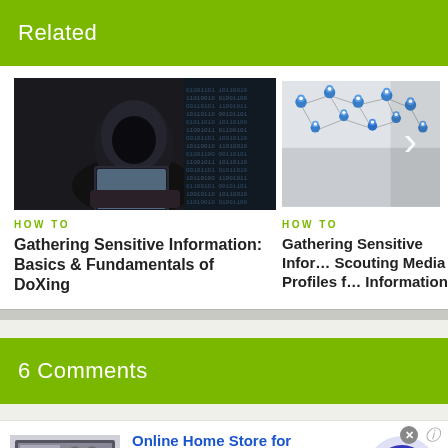Related
[Figure (photo): A hooded figure in dark clothing using a laptop/tablet device with digital binary code streaming in the background (hacker theme).]
HOW TO
Gathering Sensitive Information: Basics & Fundamentals of DoXing
[Figure (photo): Network of blue location pin markers connected by lines on a grey surface, representing geographic mapping or social network connections.]
HOW TO
Gathering Sensitive Information: Scouting Media Profiles for Information
6 Comments
[Figure (photo): Advertisement thumbnail showing home appliances/furniture for Wayfair.]
Online Home Store for Furniture
Shop Wayfair for A Zillion Things Home across all styles
www.wayfair.com